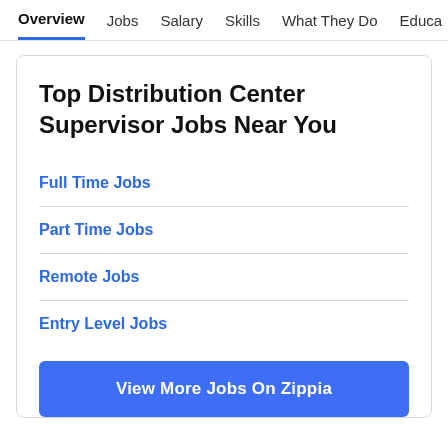Overview  Jobs  Salary  Skills  What They Do  Educa >
Top Distribution Center Supervisor Jobs Near You
Full Time Jobs
Part Time Jobs
Remote Jobs
Entry Level Jobs
View More Jobs On Zippia